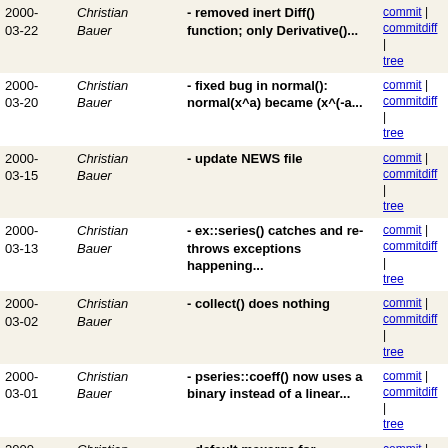| Date | Author | Message | Links |
| --- | --- | --- | --- |
| 2000-03-22 | Christian Bauer | - removed inert Diff() function; only Derivative()... | commit | commitdiff | tree |
| 2000-03-20 | Christian Bauer | - fixed bug in normal(): normal(x^a) became (x^(-a... | commit | commitdiff | tree |
| 2000-03-15 | Christian Bauer | - update NEWS file | commit | commitdiff | tree |
| 2000-03-13 | Christian Bauer | - ex::series() catches and re-throws exceptions happening... | commit | commitdiff | tree |
| 2000-03-02 | Christian Bauer | - collect() does nothing | commit | commitdiff | tree |
| 2000-03-01 | Christian Bauer | - pseries::coeff() now uses a binary instead of a linear... | commit | commitdiff | tree |
| 2000-02-24 | Christian Bauer | - default maxargs for functions is 13 to make the current... | commit | commitdiff | tree |
| 2000-02-21 | Christian Bauer | - add::normal() didn't multiply denominator of expanded... | commit | commitdiff | tree |
| 2000-02-21 | Christian Bauer | - added check for latest normal() bug | commit | commitdiff | tree |
| 2000-02-21 | Christian Bauer | - collect() works better | commit | commitdiff | tree |
| 2000-02-10 | Christian Bauer | - ex::numer() and ex::denom() now make use of the new... | commit | commitdiff | tree |
| 2000-02-10 | Christian Bauer | - normal() now internally keeps numerator and denominator... | commit | commitdiff | tree |
| 2000-02-08 | Christian Bauer | - added linefeed to end of "usage" string | commit | commitdiff | tree |
| 2000- | Christian | - series expansion of pseries objects | commit |